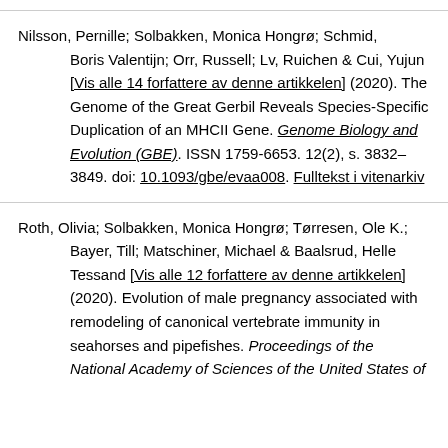Nilsson, Pernille; Solbakken, Monica Hongrø; Schmid, Boris Valentijn; Orr, Russell; Lv, Ruichen & Cui, Yujun [Vis alle 14 forfattere av denne artikkelen] (2020). The Genome of the Great Gerbil Reveals Species-Specific Duplication of an MHCII Gene. Genome Biology and Evolution (GBE). ISSN 1759-6653. 12(2), s. 3832–3849. doi: 10.1093/gbe/evaa008. Fulltekst i vitenarkiv
Roth, Olivia; Solbakken, Monica Hongrø; Tørresen, Ole K.; Bayer, Till; Matschiner, Michael & Baalsrud, Helle Tessand [Vis alle 12 forfattere av denne artikkelen] (2020). Evolution of male pregnancy associated with remodeling of canonical vertebrate immunity in seahorses and pipefishes. Proceedings of the National Academy of Sciences of the United States of